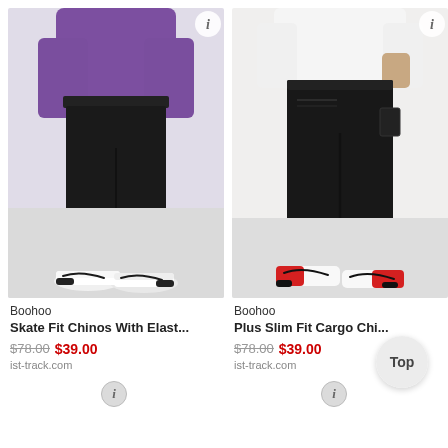[Figure (photo): Model wearing black skate fit chinos with elastic waist and purple hoodie top, with black and white Nike sneakers]
Boohoo
Skate Fit Chinos With Elast...
$78.00 $39.00
ist-track.com
[Figure (photo): Model wearing black slim fit cargo chinos with white t-shirt and red/white/black Nike sneakers]
Boohoo
Plus Slim Fit Cargo Chi...
$78.00 $39.00
ist-track.com